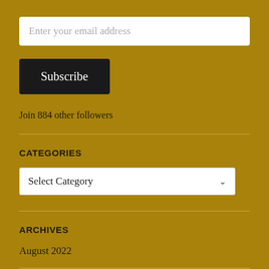Enter your email address
Subscribe
Join 884 other followers
CATEGORIES
Select Category
ARCHIVES
August 2022